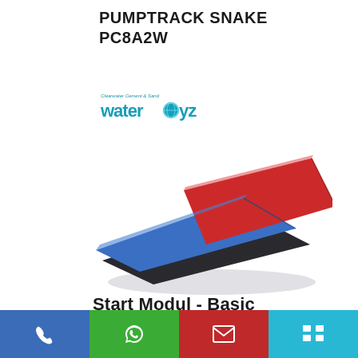PUMPTRACK SNAKE PC8A2W
[Figure (logo): Waterboyz company logo with tagline and globe icon]
[Figure (photo): Pumptrack Snake module product photo showing blue and red angled ramp modules stacked diagonally on a white background]
Start Modul - Basic
Phone | WhatsApp | Email | Menu icons